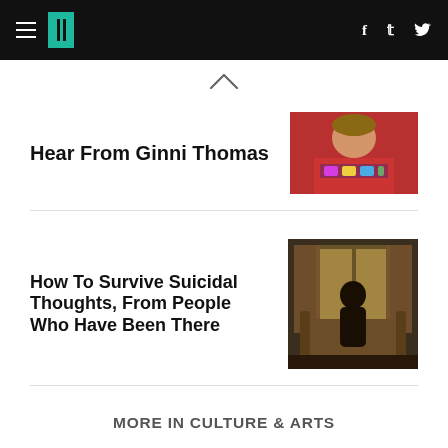HuffPost navigation with hamburger menu, logo, Facebook and Twitter icons
Hear From Ginni Thomas
[Figure (photo): Photo of a woman in a red jacket with a colorful necklace]
How To Survive Suicidal Thoughts, From People Who Have Been There
[Figure (photo): Dark photo of a person sitting in a chair near a window with curtains]
MORE IN CULTURE & ARTS